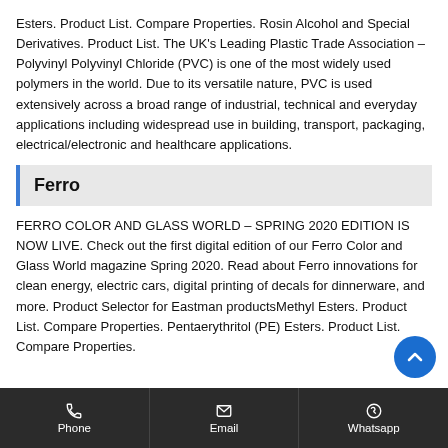Esters. Product List. Compare Properties. Rosin Alcohol and Special Derivatives. Product List. The UK's Leading Plastic Trade Association – Polyvinyl Polyvinyl Chloride (PVC) is one of the most widely used polymers in the world. Due to its versatile nature, PVC is used extensively across a broad range of industrial, technical and everyday applications including widespread use in building, transport, packaging, electrical/electronic and healthcare applications.
Ferro
FERRO COLOR AND GLASS WORLD – SPRING 2020 EDITION IS NOW LIVE. Check out the first digital edition of our Ferro Color and Glass World magazine Spring 2020. Read about Ferro innovations for clean energy, electric cars, digital printing of decals for dinnerware, and more. Product Selector for Eastman productsMethyl Esters. Product List. Compare Properties. Pentaerythritol (PE) Esters. Product List. Compare Properties.
Phone   Email   Whatsapp